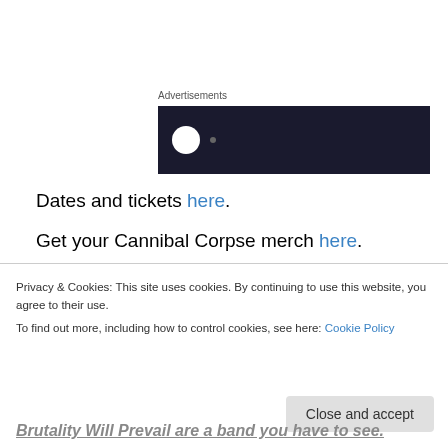[Figure (other): Dark advertisement banner with white circle icon and dot]
Dates and tickets here.
Get your Cannibal Corpse merch here.
Who: CANCER BATS /w Brutality Will Prevail + Empress
When: 8th-22nd March
Why: One of today's hardest working bands in
Privacy & Cookies: This site uses cookies. By continuing to use this website, you agree to their use.
To find out more, including how to control cookies, see here: Cookie Policy
Brutality Will Prevail are a band you have to see.